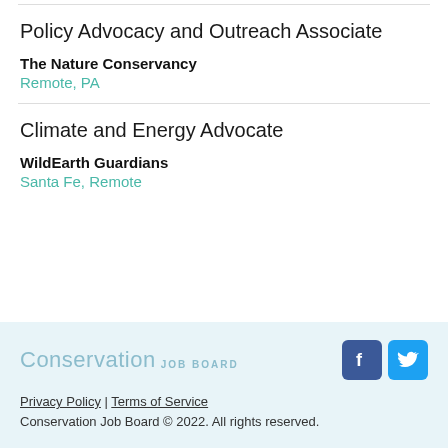Policy Advocacy and Outreach Associate
The Nature Conservancy
Remote, PA
Climate and Energy Advocate
WildEarth Guardians
Santa Fe, Remote
Conservation Job Board | Privacy Policy | Terms of Service | Conservation Job Board © 2022. All rights reserved.